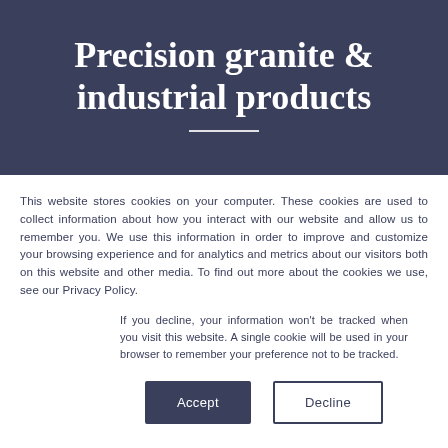Precision granite & industrial products
This website stores cookies on your computer. These cookies are used to collect information about how you interact with our website and allow us to remember you. We use this information in order to improve and customize your browsing experience and for analytics and metrics about our visitors both on this website and other media. To find out more about the cookies we use, see our Privacy Policy.
If you decline, your information won't be tracked when you visit this website. A single cookie will be used in your browser to remember your preference not to be tracked.
Accept   Decline